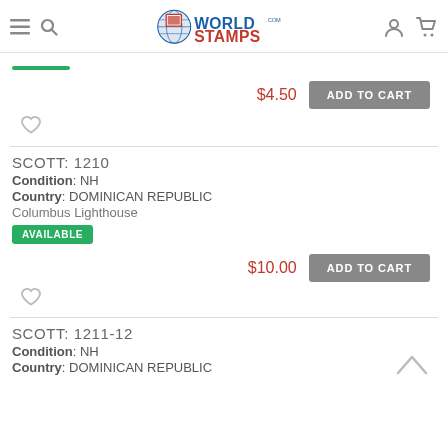WorldStamps.com
$4.50 ADD TO CART
SCOTT: 1210
Condition: NH
Country: DOMINICAN REPUBLIC
Columbus Lighthouse
AVAILABLE
$10.00 ADD TO CART
SCOTT: 1211-12
Condition: NH
Country: DOMINICAN REPUBLIC